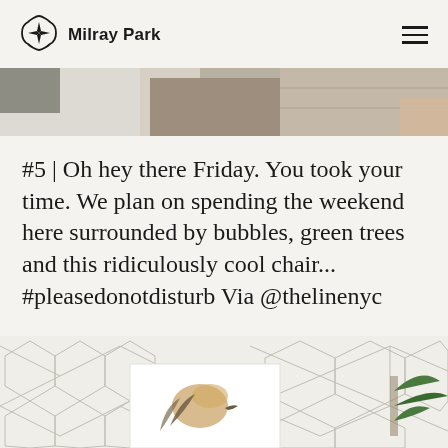Milray Park
[Figure (photo): Partial view of a room scene with white fluffy rug, grey textured rug, hardwood floor, and what appears to be a chair arm]
#5 | Oh hey there Friday. You took your time. We plan on spending the weekend here surrounded by bubbles, green trees and this ridiculously cool chair... #pleasedonotdisturb Via @thelinenyc
[Figure (photo): Bottom portion of a decorative tile wall with hexagonal/geometric wire pattern, and a framed artwork with plant leaves visible]